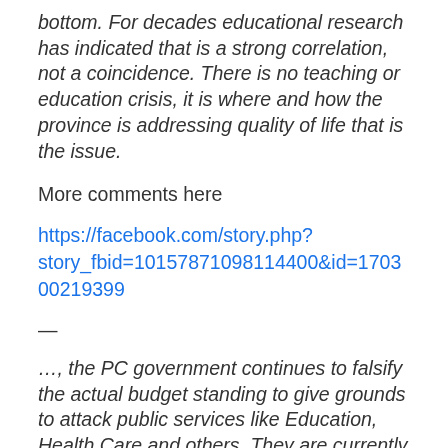bottom. For decades educational research has indicated that is a strong correlation, not a coincidence. There is no teaching or education crisis, it is where and how the province is addressing quality of life that is the issue.
More comments here
https://facebook.com/story.php?story_fbid=10157871098114400&id=170300219399
—
…, the PC government continues to falsify the actual budget standing to give grounds to attack public services like Education, Health Care and others. They are currently strong arming education and the way they are doing it, is not even legal. Which Manitoba Teachers society is currently fighting in court. Here is one document as an